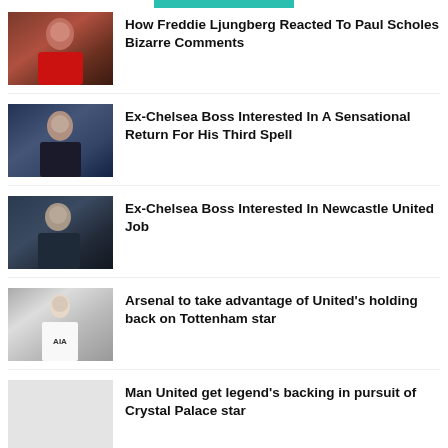[Figure (other): Teal/green horizontal bar at top of page]
[Figure (photo): Photo of Freddie Ljungberg in Arsenal red coaching kit]
How Freddie Ljungberg Reacted To Paul Scholes Bizarre Comments
[Figure (photo): Photo of ex-Chelsea boss (Jose Mourinho) in dark coat]
Ex-Chelsea Boss Interested In A Sensational Return For His Third Spell
[Figure (photo): Photo of ex-Chelsea boss (Jose Mourinho) in dark jacket]
Ex-Chelsea Boss Interested In Newcastle United Job
[Figure (photo): Photo of a Tottenham player in white AIA kit]
Arsenal to take advantage of United’s holding back on Tottenham star
[Figure (photo): Light grey placeholder image]
Man United get legend’s backing in pursuit of Crystal Palace star
[Figure (photo): Light grey placeholder image]
Gary Neville: Man United now know their stance in summer transfer window